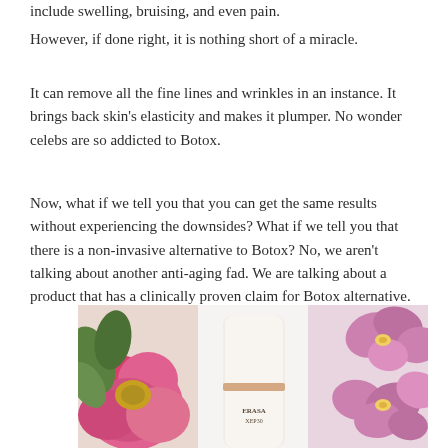include swelling, bruising, and even pain.
However, if done right, it is nothing short of a miracle.
It can remove all the fine lines and wrinkles in an instance. It brings back skin's elasticity and makes it plumper. No wonder celebs are so addicted to Botox.
Now, what if we tell you that you can get the same results without experiencing the downsides? What if we tell you that there is a non-invasive alternative to Botox? No, we aren't talking about another anti-aging fad. We are talking about a product that has a clinically proven claim for Botox alternative.
[Figure (photo): A white cylindrical skincare product labeled ERASA XEP30 surrounded by pink roses and pink orchid flowers on a white background.]